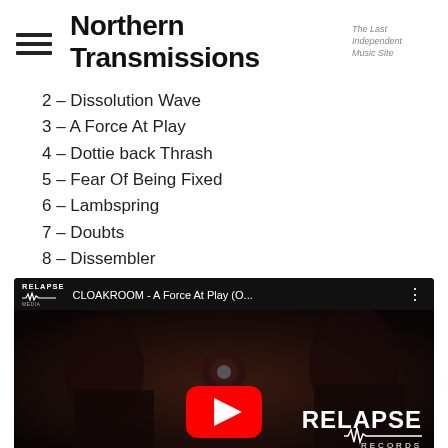Northern Transmissions — The Last Independent Music Site
2 – Dissolution Wave
3 – A Force At Play
4 – Dottie back Thrash
5 – Fear Of Being Fixed
6 – Lambspring
7 – Doubts
8 – Dissembler
[Figure (screenshot): YouTube video embed showing CLOAKROOM - A Force At Play (O... with Relapse Records branding on dark background with figures]